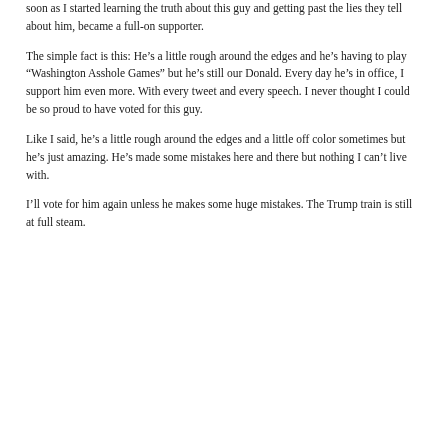soon as I started learning the truth about this guy and getting past the lies they tell about him, became a full-on supporter.
The simple fact is this: He’s a little rough around the edges and he’s having to play “Washington Asshole Games” but he’s still our Donald. Every day he’s in office, I support him even more. With every tweet and every speech. I never thought I could be so proud to have voted for this guy.
Like I said, he’s a little rough around the edges and a little off color sometimes but he’s just amazing. He’s made some mistakes here and there but nothing I can’t live with.
I’ll vote for him again unless he makes some huge mistakes. The Trump train is still at full steam.